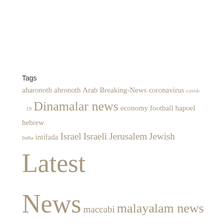Tags
aharonoth ahronoth Arab Breaking-News coronavirus covid-19 Dinamalar news economy football hapoel hebrew India intifada Israel Israeli Jerusalem Jewish Latest News maccabi malayalam news manorama news Manorama Online Middle East news newspaper on Palestine portal Quotes russia Science Search Sports tamil news Tel Aviv top online news Ukraine update updated top business news usa west bank world top news www.ynet.co.il yediot yedioth